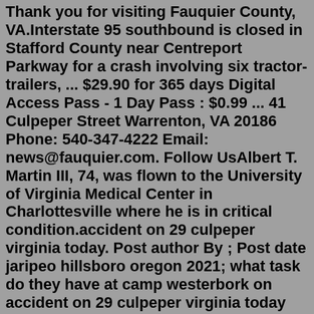Thank you for visiting Fauquier County, VA.Interstate 95 southbound is closed in Stafford County near Centreport Parkway for a crash involving six tractor-trailers, ... $29.90 for 365 days Digital Access Pass - 1 Day Pass : $0.99 ... 41 Culpeper Street Warrenton, VA 20186 Phone: 540-347-4222 Email: news@fauquier.com. Follow UsAlbert T. Martin III, 74, was flown to the University of Virginia Medical Center in Charlottesville where he is in critical condition.accident on 29 culpeper virginia today. Post author By ; Post date jaripeo hillsboro oregon 2021; what task do they have at camp westerbork on accident on 29 culpeper virginia today ...Today's and tonight's Culpeper, VA weather forecast, weather conditions and Doppler radar from The Weather Channel and Weather.com. Culpeper, VA Forecast. Today. Hourly. Humidity. 29%. Dew Point.Aug 31, 2022 · A tractor-trailer crash along Route 29 northbound in Amherst County is causing delays, according to VDOT. As of 11:47 a.m., the north left shoulder and left lane are closed. VDOT